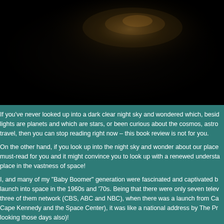[Figure (photo): Dark night sky photograph, mostly black with a faint brownish-orange glow in the upper center area suggesting a celestial body or light source in a dark sky scene.]
If you've never looked up into a dark clear night sky and wondered which, beside lights are planets and which are stars, or been curious about the cosmos, astro travel, then you can stop reading right now – this book review is not for you.

On the other hand, if you look up into the night sky and wonder about our place must-read for you and it might convince you to look up with a renewed understa place in the vastness of space!

I, and many of my "Baby Boomer" generation were fascinated and captivated b launch into space in the 1960s and '70s. Being that there were only seven telev three of them network (CBS, ABC and NBC), when there was a launch from Ca Cape Kennedy and the Space Center), it was like a national address by The Pr looking those days also)!